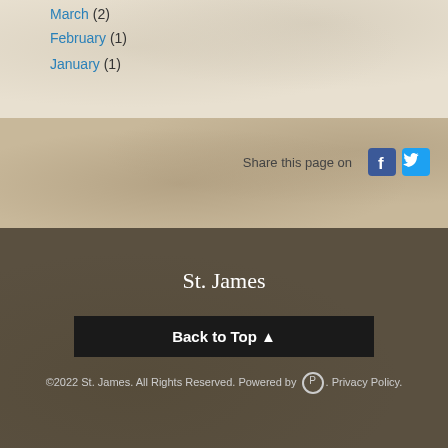March (2)
February (1)
January (1)
Share this page on
St. James
Back to Top ↑
©2022 St. James. All Rights Reserved. Powered by [P]. Privacy Policy.